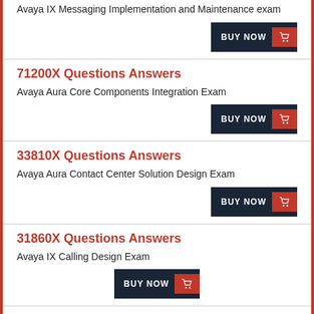Avaya IX Messaging Implementation and Maintenance exam
BUY NOW
71200X Questions Answers
Avaya Aura Core Components Integration Exam
BUY NOW
33810X Questions Answers
Avaya Aura Contact Center Solution Design Exam
BUY NOW
31860X Questions Answers
Avaya IX Calling Design Exam
BUY NOW
37820X Questions Answers
Avaya Midsize Solution Design Exam
BUY NOW